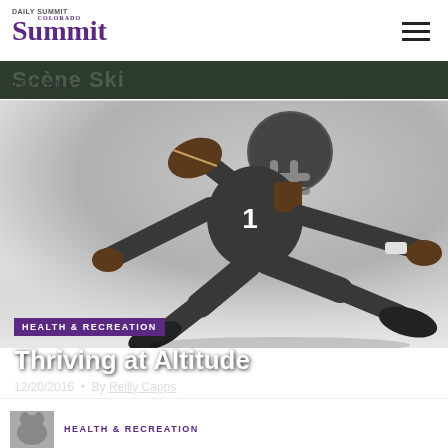Colorado Summit — Daily Summit — 12/21/2016
[Figure (photo): Black and white photograph of an American football player in uniform number 1, running with the ball, wearing a helmet with face mask, arms outstretched]
HEALTH & RECREATION
Thriving at Altitude
12/20/2016 • By Reilly Capps
HEALTH & RECREATION